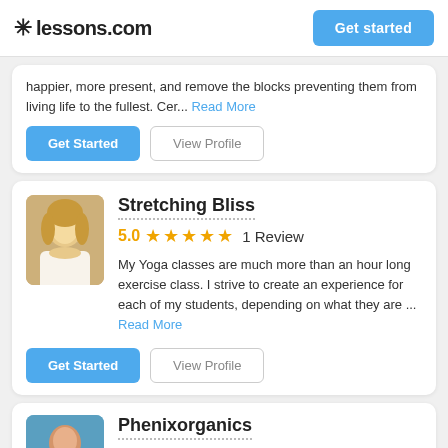lessons.com | Get started
happier, more present, and remove the blocks preventing them from living life to the fullest. Cer... Read More
Get Started | View Profile
Stretching Bliss
5.0 ★★★★★ 1 Review
My Yoga classes are much more than an hour long exercise class. I strive to create an experience for each of my students, depending on what they are ... Read More
Get Started | View Profile
Phenixorganics